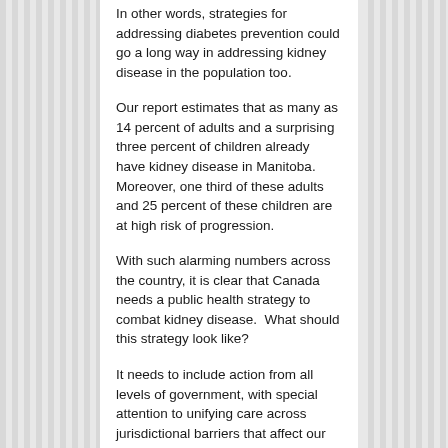In other words, strategies for addressing diabetes prevention could go a long way in addressing kidney disease in the population too.
Our report estimates that as many as 14 percent of adults and a surprising three percent of children already have kidney disease in Manitoba. Moreover, one third of these adults and 25 percent of these children are at high risk of progression.
With such alarming numbers across the country, it is clear that Canada needs a public health strategy to combat kidney disease.  What should this strategy look like?
It needs to include action from all levels of government, with special attention to unifying care across jurisdictional barriers that affect our highest risk populations, such as First Nations people.
A public health strategy should focus first on